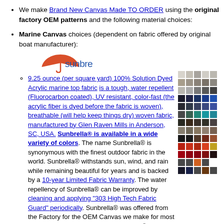We make Brand New Canvas Made TO ORDER using the original factory OEM patterns and the following material choices:
Marine Canvas choices (dependent on fabric offered by original boat manufacturer):
9.25 ounce (per square yard) 100% Solution Dyed Acrylic marine top fabric is a tough, water repellent (Fluorocarbon coated), UV resistant, color-fast (the acrylic fiber is dyed before the fabric is woven), breathable (will help keep things dry) woven fabric, manufactured by Glen Raven Mills in Anderson, SC, USA. Sunbrella® is available in a wide variety of colors. The name Sunbrella® is synonymous with the finest outdoor fabric in the world. Sunbrella® withstands sun, wind, and rain while remaining beautiful for years and is backed by a 10-year Limited Fabric Warranty. The water repellency of Sunbrella® can be improved by cleaning and applying "303 High Tech Fabric Guard" periodically. Sunbrella® was offered from the Factory for the OEM Canvas we make for most boat manufacturers, including: Sea Ray®
[Figure (illustration): Sunbrella brand logo with orange umbrella icon and blue text]